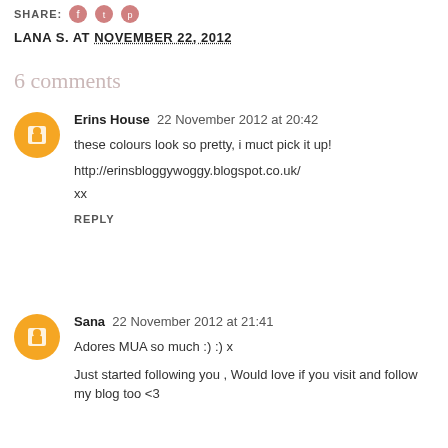SHARE:
LANA S. AT NOVEMBER 22, 2012
6 comments
Erins House  22 November 2012 at 20:42
these colours look so pretty, i muct pick it up!
http://erinsbloggywoggy.blogspot.co.uk/
xx
REPLY
Sana  22 November 2012 at 21:41
Adores MUA so much :) :) x
Just started following you , Would love if you visit and follow my blog too <3